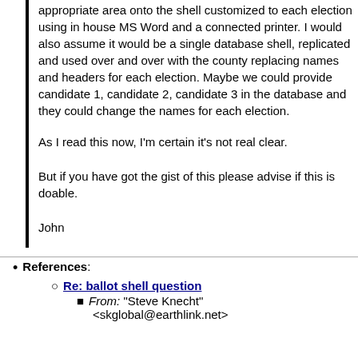appropriate area onto the shell customized to each election using in house MS Word and a connected printer.  I would also assume it would be a single database shell, replicated and used over and over with the county replacing names and headers for each election.  Maybe we could provide candidate 1, candidate 2, candidate 3 in the database and they could change the names for each election.
As I read this now, I'm certain it's not real clear.
But if you have got the gist of this please advise if this is doable.
John
References:
Re: ballot shell question
From: "Steve Knecht" <skglobal@earthlink.net>